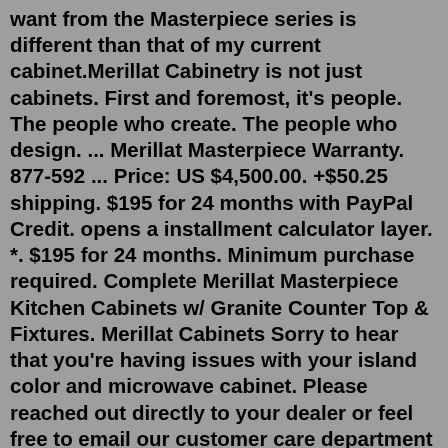want from the Masterpiece series is different than that of my current cabinet.Merillat Cabinetry is not just cabinets. First and foremost, it's people. The people who create. The people who design. ... Merillat Masterpiece Warranty. 877-592 ... Price: US $4,500.00. +$50.25 shipping. $195 for 24 months with PayPal Credit. opens a installment calculator layer. *. $195 for 24 months. Minimum purchase required. Complete Merillat Masterpiece Kitchen Cabinets w/ Granite Counter Top & Fixtures. Merillat Cabinets Sorry to hear that you're having issues with your island color and microwave cabinet. Please reached out directly to your dealer or feel free to email our customer care department at consumerdepartment@cabinetworksgroup.com or call 866.850.8557 to help address the issues. ·. 1d. Store Information. Oldenkamp Store, 4850 Coolidge Highway, Royal Oak, MI 48073 United States Call us now: (586) 756-0600 Email: info@oldenkamp.com home | about us | privacy policy | products | email us. Copyright © 2011 MerrillatCabinetParts.com All